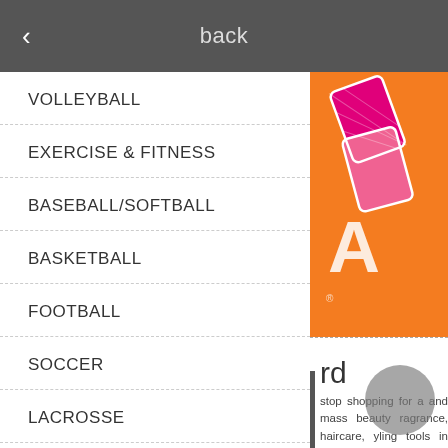back
VOLLEYBALL
EXERCISE & FITNESS
BASEBALL/SOFTBALL
BASKETBALL
FOOTBALL
SOCCER
LACROSSE
FIELD HOCKEY
[Figure (illustration): Ulta Beauty gift card on orange background with pink and magenta cosmetic shapes]
rd
stop shopping for a and mass beauty ragrance, haircare, yling tools in over h. Ulta Beauty also Things Beauty. All